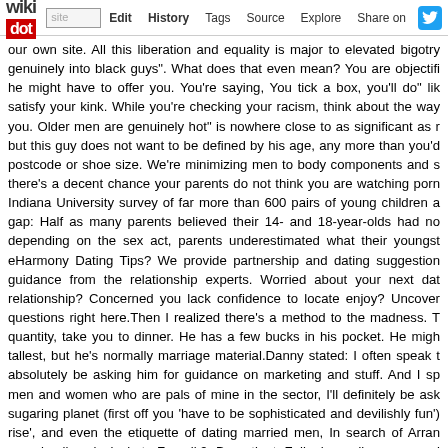wikidot | site | Edit | History | Tags | Source | Explore | Share on [Twitter]
our own site. All this liberation and equality is major to elevated bigotry genuinely into black guys". What does that even mean? You are objectifi he might have to offer you. You're saying, You tick a box, you'll do" lik satisfy your kink. While you're checking your racism, think about the way you. Older men are genuinely hot" is nowhere close to as significant as r but this guy does not want to be defined by his age, any more than you'd postcode or shoe size. We're minimizing men to body components and s there's a decent chance your parents do not think you are watching porn Indiana University survey of far more than 600 pairs of young children a gap: Half as many parents believed their 14- and 18-year-olds had no depending on the sex act, parents underestimated what their youngst eHarmony Dating Tips? We provide partnership and dating suggestion guidance from the relationship experts. Worried about your next dat relationship? Concerned you lack confidence to locate enjoy? Uncover questions right here.Then I realized there's a method to the madness. T quantity, take you to dinner. He has a few bucks in his pocket. He migh tallest, but he's normally marriage material.Danny stated: I often speak t absolutely be asking him for guidance on marketing and stuff. And I sp men and women who are pals of mine in the sector, I'll definitely be ask sugaring planet (first off you 'have to be sophisticated and devilishly fun') rise', and even the etiquette of dating married men, In search of Arran reveals all exclusively to Femail.9. Be patient: Folks have diverse commi constantly at the very prime. Sometimes you will get responses correct a time you possibly won't even get a response. Don't let that faze you. That mind what you are up against (now's a good time to refer back to my Th the behaviors that turn females off to on the internet dating). Ladies r crude or downright imply and nasty. Most of these ladies are looking for behavior typically causes them to isolate their interactions to only the mal